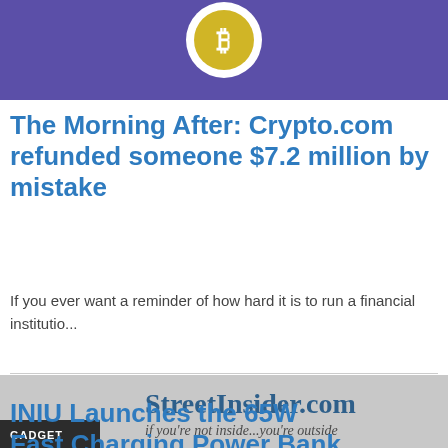[Figure (logo): Purple background image with a white circle containing a stylized 'B' coin logo]
GADGET
The Morning After: Crypto.com refunded someone $7.2 million by mistake
If you ever want a reminder of how hard it is to run a financial institutio...
[Figure (logo): StreetInsider.com logo on grey background with tagline 'if you're not inside...you're outside']
GADGET
INIU Launches the 65W Fast Charging Power Bank